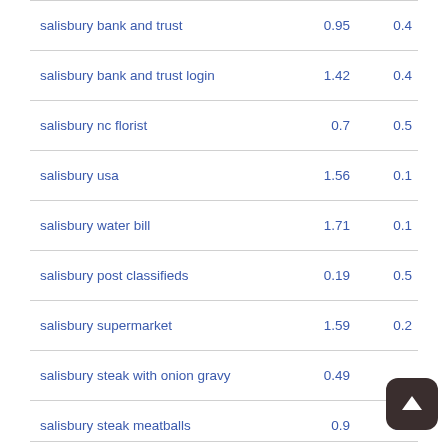| keyword | col1 | col2 |
| --- | --- | --- |
| salisbury bank and trust | 0.95 | 0.4 |
| salisbury bank and trust login | 1.42 | 0.4 |
| salisbury nc florist | 0.7 | 0.5 |
| salisbury usa | 1.56 | 0.1 |
| salisbury water bill | 1.71 | 0.1 |
| salisbury post classifieds | 0.19 | 0.5 |
| salisbury supermarket | 1.59 | 0.2 |
| salisbury steak with onion gravy | 0.49 |  |
| salisbury steak meatballs | 0.9 | 0.5 |